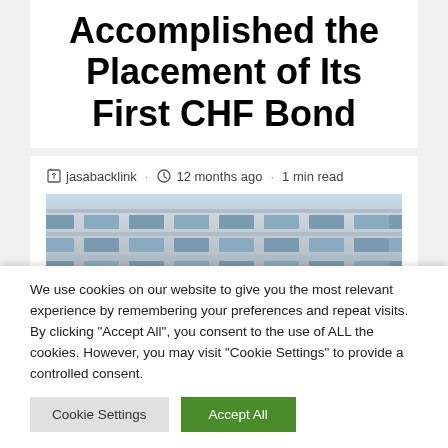Accomplished the Placement of Its First CHF Bond
jasabacklink · 12 months ago · 1 min read
[Figure (photo): Exterior of a modern office or institutional building with horizontal windows and balconies, photographed from a low angle against a light sky.]
We use cookies on our website to give you the most relevant experience by remembering your preferences and repeat visits. By clicking "Accept All", you consent to the use of ALL the cookies. However, you may visit "Cookie Settings" to provide a controlled consent.